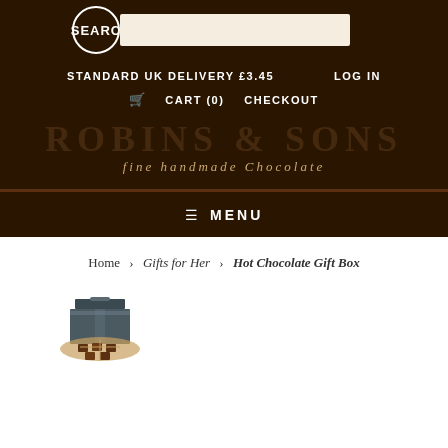SEARCH
STANDARD UK DELIVERY £3.45   LOG IN
CART (0)  CHECKOUT
ROBINS & SONS fine handmade Chocolate
≡ MENU
Home > Gifts for Her > Hot Chocolate Gift Box
[Figure (photo): Hot Chocolate Gift Box product thumbnail image 1]
[Figure (photo): Hot Chocolate Gift Box product thumbnail image 2]